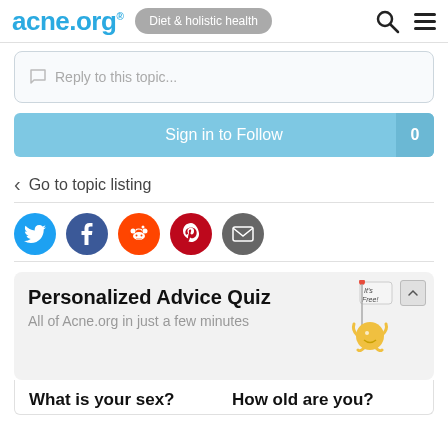acne.org® | Diet & holistic health
Reply to this topic...
Sign in to Follow
Go to topic listing
[Figure (infographic): Social sharing icons: Twitter (blue), Facebook (dark blue), Reddit (orange), Pinterest (dark red), Email (gray)]
Personalized Advice Quiz
All of Acne.org in just a few minutes
What is your sex?   How old are you?